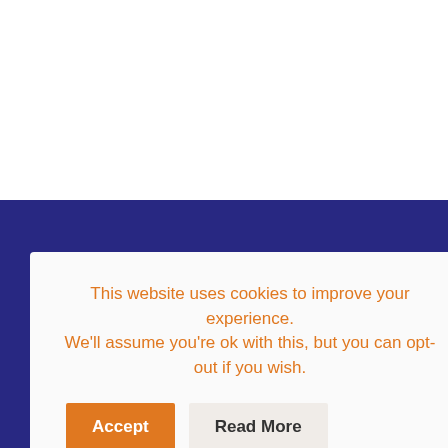[Figure (screenshot): Website screenshot with white background in upper half and dark blue background in lower half. Partial large white letter 'h' visible on right side, partial text 'wind ...' and letter 'k' visible in blue area.]
This website uses cookies to improve your experience.
We'll assume you're ok with this, but you can opt-out if you wish.
Accept
Read More